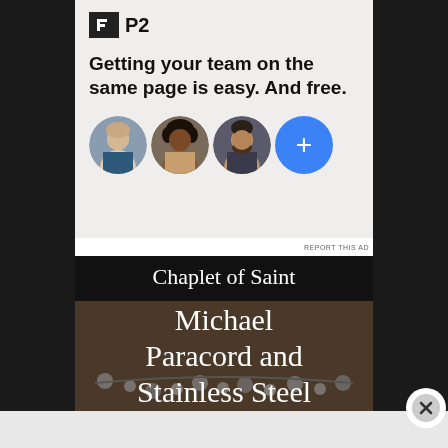[Figure (screenshot): P2 advertisement showing logo with 'P2' text, tagline 'Getting your team on the same page is easy. And free.' with three circular avatar photos and a blue plus button]
REPORT THIS AD
[Figure (screenshot): Advertisement for 'Chaplet of Saint Michael Paracord and Stainless Steel' showing white serif text over a dark background with an image of beaded jewelry]
Advertisements
[Figure (screenshot): Automattic advertisement bar showing 'AUTOMATTIC' logo and tagline 'Build a better web and a better world.']